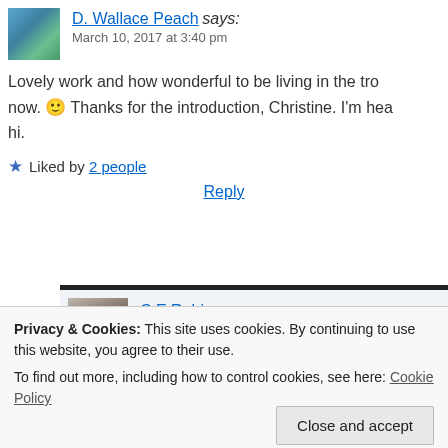D. Wallace Peach says: March 10, 2017 at 3:40 pm
Lovely work and how wonderful to be living in the tropics now. 🙂 Thanks for the introduction, Christine. I'm heading over to say hi.
Liked by 2 people
Reply
C.E.Robinson says: March 10, 2017 at 3:46 pm
Diana, thank you for your visit and comme...
Privacy & Cookies: This site uses cookies. By continuing to use this website, you agree to their use.
To find out more, including how to control cookies, see here: Cookie Policy
Close and accept